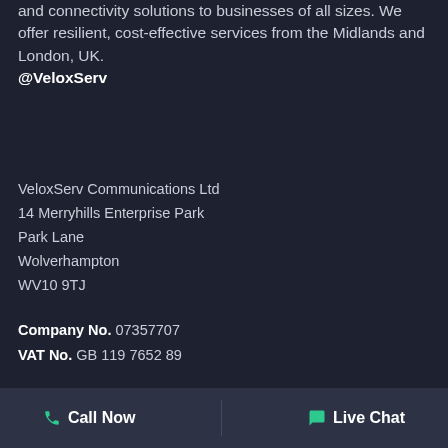and connectivity solutions to businesses of all sizes. We offer resilient, cost-effective services from the Midlands and London, UK.
@VeloxServ
VeloxServ Communications Ltd
14 Merryhills Enterprise Park
Park Lane
Wolverhampton
WV10 9TJ
Company No. 07357707
VAT No. GB 119 7652 89
[Figure (logo): VeloxServ logo — a white stylized V chevron above the word 'velox' in large white lowercase text, with 'serv' in smaller white text below, on a dark navy background]
Call Now   Live Chat